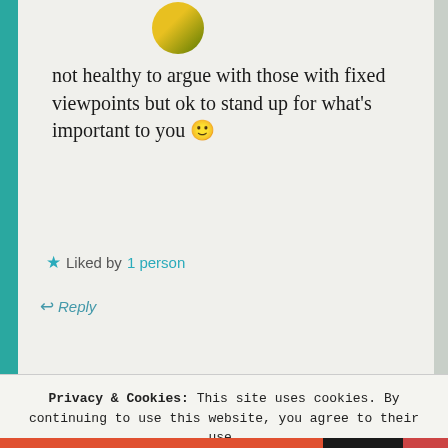not healthy to argue with those with fixed viewpoints but ok to stand up for what's important to you 🙂
★ Liked by 1 person
↩ Reply
ELIZA says:
Privacy & Cookies: This site uses cookies. By continuing to use this website, you agree to their use.
To find out more, including how to control cookies, see here: Cookie Policy
Close and accept